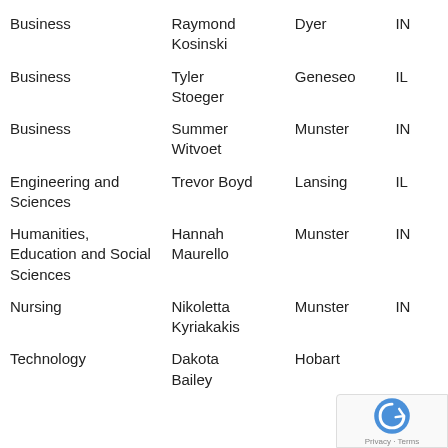| College | Name | City | State |
| --- | --- | --- | --- |
| Business | Raymond Kosinski | Dyer | IN |
| Business | Tyler Stoeger | Geneseo | IL |
| Business | Summer Witvoet | Munster | IN |
| Engineering and Sciences | Trevor Boyd | Lansing | IL |
| Humanities, Education and Social Sciences | Hannah Maurello | Munster | IN |
| Nursing | Nikoletta Kyriakakis | Munster | IN |
| Technology | Dakota Bailey | Hobart |  |